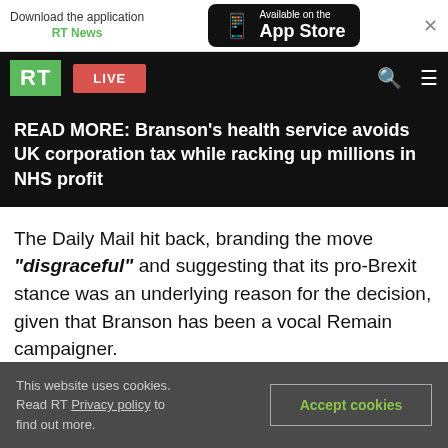Download the application RT News — Available on the App Store
RT LIVE
READ MORE: Branson's health service avoids UK corporation tax while racking up millions in NHS profit
The Daily Mail hit back, branding the move "disgraceful" and suggesting that its pro-Brexit stance was an underlying reason for the decision, given that Branson has been a vocal Remain campaigner.
This website uses cookies. Read RT Privacy policy to find out more. Accept cookies